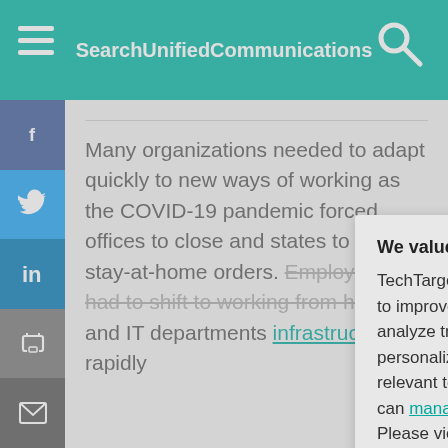SearchUnifiedCommunications
Many organizations needed to adapt quickly to new ways of working as the COVID-19 pandemic forced offices to close and states to enforce stay-at-home orders. Employees had to shift to working from home and IT departments had to scale up remote infrastructure rapidly.
We value your privacy.
TechTarget and its partners employ cookies to improve your experience on our site, to analyze traffic and performance, and to serve personalized content and advertising that are relevant to your professional interests. You can manage your settings at any time. Please view our Privacy Policy for more information